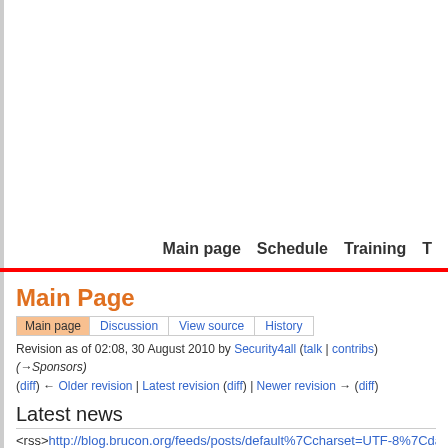Main page   Schedule   Training   T
Main Page
Main page  Discussion  View source  History
Revision as of 02:08, 30 August 2010 by Security4all (talk | contribs) (→Sponsors)
(diff) ← Older revision | Latest revision (diff) | Newer revision → (diff)
Latest news
<rss>http://blog.brucon.org/feeds/posts/default%7Ccharset=UTF-8%7Cdate%7...
What is BruCON?